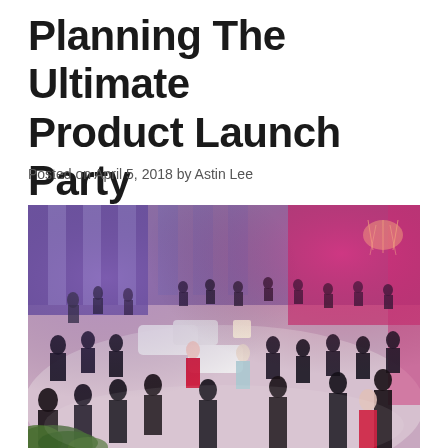Planning The Ultimate Product Launch Party
Posted on April 5, 2018 by Astin Lee
[Figure (photo): Overhead view of a product launch party in a large venue with purple and pink lighting, crowded with formally dressed guests, white lounge furniture in the center, and ornate columns along the walls.]